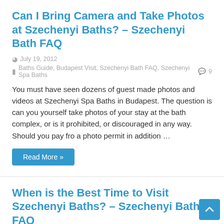Can I Bring Camera and Take Photos at Szechenyi Baths? – Szechenyi Bath FAQ
July 19, 2012  Baths Guide, Budapest Visit, Szechenyi Bath FAQ, Szechenyi Spa Baths  9
You must have seen dozens of guest made photos and videos at Szechenyi Spa Baths in Budapest. The question is can you yourself take photos of your stay at the bath complex, or is it prohibited, or discouraged in any way. Should you pay fro a photo permit in addition …
Read More »
When is the Best Time to Visit Szechenyi Baths? – Szechenyi Bath FAQ
July 19, 2012  Baths Guide, Budapest Visit, Szechenyi Bath FAQ, Szechenyi Spa Baths  46
We understand if you want to visit the popular Szechenyi Baths and Budapest, but you need to pick a perfect time for your trip to the bath…